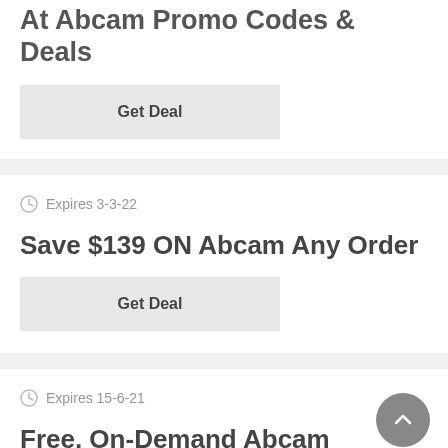At Abcam Promo Codes & Deals
Get Deal
Expires 3-3-22
Save $139 ON Abcam Any Order
Get Deal
Expires 15-6-21
Free, On-Demand Abcam Training Series